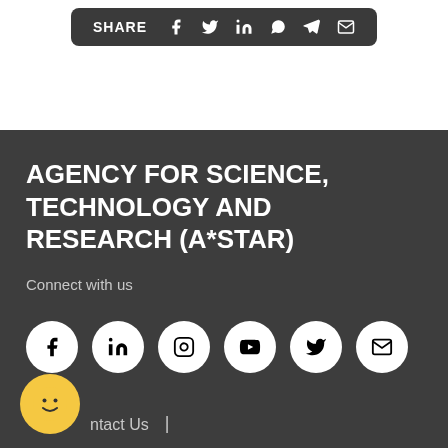[Figure (other): Share bar with social media icons: Facebook, Twitter, LinkedIn, WhatsApp, Telegram, Email on dark rounded rectangle background]
AGENCY FOR SCIENCE, TECHNOLOGY AND RESEARCH (A*STAR)
Connect with us
[Figure (other): Row of social media icon circles: Facebook, LinkedIn, Instagram, YouTube, Twitter, Email]
Contact Us  |